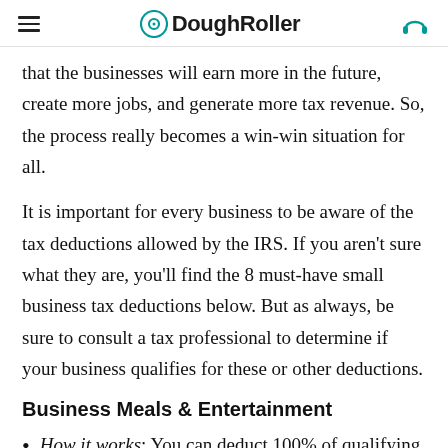DoughRoller
that the businesses will earn more in the future, create more jobs, and generate more tax revenue. So, the process really becomes a win-win situation for all.
It is important for every business to be aware of the tax deductions allowed by the IRS. If you aren't sure what they are, you'll find the 8 must-have small business tax deductions below. But as always, be sure to consult a tax professional to determine if your business qualifies for these or other deductions.
Business Meals & Entertainment
How it works: You can deduct 100% of qualifying